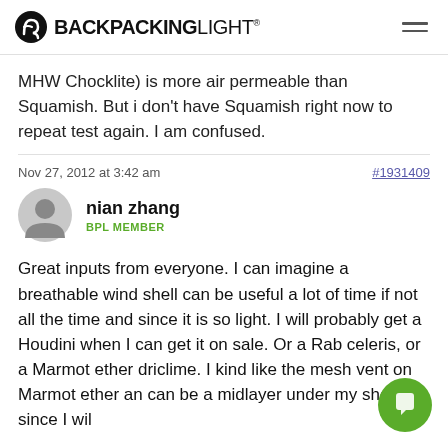BACKPACKINGLIGHT
MHW Chocklite) is more air permeable than Squamish. But i don't have Squamish right now to repeat test again. I am confused.
Nov 27, 2012 at 3:42 am   #1931409
nian zhang
BPL MEMBER
Great inputs from everyone. I can imagine a breathable wind shell can be useful a lot of time if not all the time and since it is so light. I will probably get a Houdini when I can get it on sale. Or a Rab celeris, or a Marmot ether driclime. I kind like the mesh vent on Marmot ether an can be a midlayer under my shell since I wil